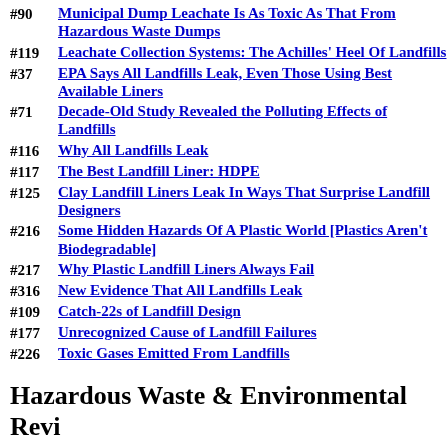#90 Municipal Dump Leachate Is As Toxic As That From Hazardous Waste Dumps
#119 Leachate Collection Systems: The Achilles' Heel Of Landfills
#37 EPA Says All Landfills Leak, Even Those Using Best Available Liners
#71 Decade-Old Study Revealed the Polluting Effects of Landfills
#116 Why All Landfills Leak
#117 The Best Landfill Liner: HDPE
#125 Clay Landfill Liners Leak In Ways That Surprise Landfill Designers
#216 Some Hidden Hazards Of A Plastic World [Plastics Aren't Biodegradable]
#217 Why Plastic Landfill Liners Always Fail
#316 New Evidence That All Landfills Leak
#109 Catch-22s of Landfill Design
#177 Unrecognized Cause of Landfill Failures
#226 Toxic Gases Emitted From Landfills
Hazardous Waste & Environmental Review